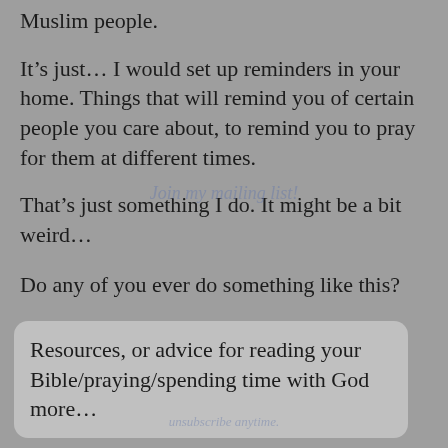Muslim people.
It's just… I would set up reminders in your home. Things that will remind you of certain people you care about, to remind you to pray for them at different times.
That's just something I do. It might be a bit weird…
Do any of you ever do something like this?
Resources, or advice for reading your Bible/praying/spending time with God more…